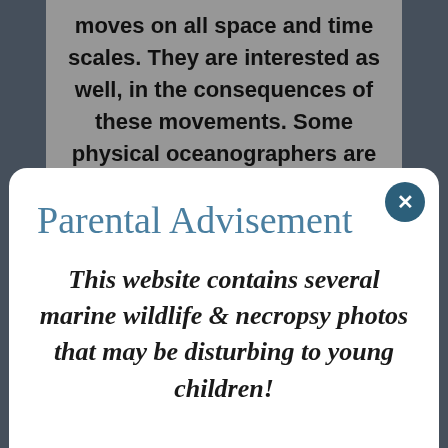moves on all space and time scales. They are interested as well, in the consequences of these movements. Some physical oceanographers are theoreticians and use computer models to answer questions and form hypotheses about oceanographic processes. Others use observations
Parental Advisement
This website contains several marine wildlife & necropsy photos that may be disturbing to young children!